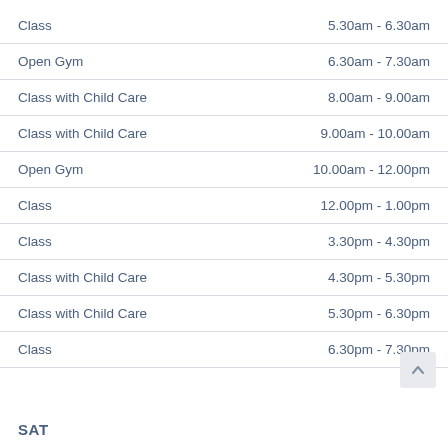| Activity | Time |
| --- | --- |
| Class | 5.30am - 6.30am |
| Open Gym | 6.30am - 7.30am |
| Class with Child Care | 8.00am - 9.00am |
| Class with Child Care | 9.00am - 10.00am |
| Open Gym | 10.00am - 12.00pm |
| Class | 12.00pm - 1.00pm |
| Class | 3.30pm - 4.30pm |
| Class with Child Care | 4.30pm - 5.30pm |
| Class with Child Care | 5.30pm - 6.30pm |
| Class | 6.30pm - 7.30pm |
SAT